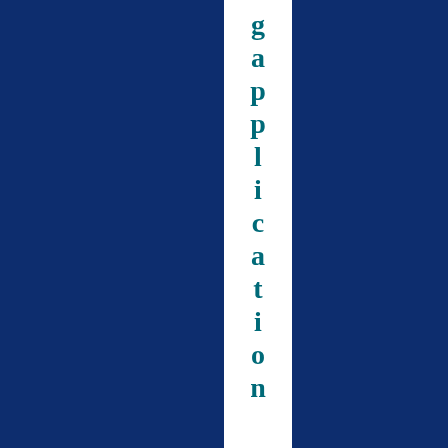[Figure (illustration): Dark navy blue page with a narrow vertical white strip running from top to bottom near the center-right, containing the word 'application' written vertically letter by letter in bold teal/dark cyan serif font.]
application